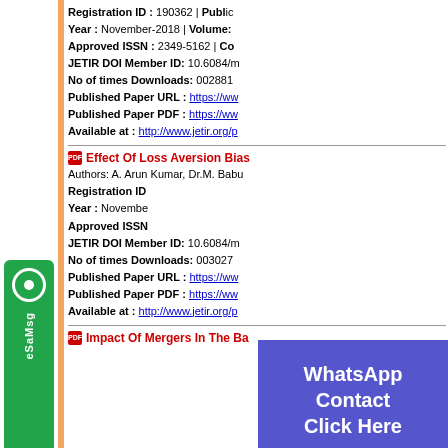Registration ID : 190362 | Publication Year : November-2018 | Volume: Approved ISSN : 2349-5162 | Co JETIR DOI Member ID: 10.6084/m No of times Downloads: 002881 Published Paper URL : https://ww Published Paper PDF : https://ww Available at : http://www.jetir.org/p
[Figure (other): WhatsApp Contact Click Here button overlay (purple/blue background)]
Effect Of Loss Aversion Bias
Authors: A. Arun Kumar, Dr.M. Babu Registration ID: Year : November Approved ISSN JETIR DOI Member ID: 10.6084/m No of times Downloads: 003027 Published Paper URL : https://ww Published Paper PDF : https://ww Available at : http://www.jetir.org/p
[Figure (other): Contact Us Click Here button overlay (purple/blue background)]
Impact Of Mergers In The Ba